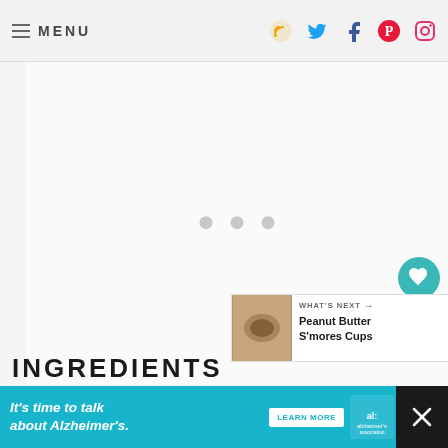MENU
[Figure (screenshot): Website screenshot showing navigation bar with MENU text, hamburger icon, and social media icons (RSS, Twitter, Facebook, Pinterest, Instagram). Main content area shows a loading state with three gray dots. Floating action buttons for heart/favorite and share. A 'What's Next' panel showing Peanut Butter S'mores Cups. Partially visible INGREDIENTS heading at bottom.]
INGREDIENTS
WHAT'S NEXT → Peanut Butter S'mores Cups
It's time to talk about Alzheimer's. LEARN MORE